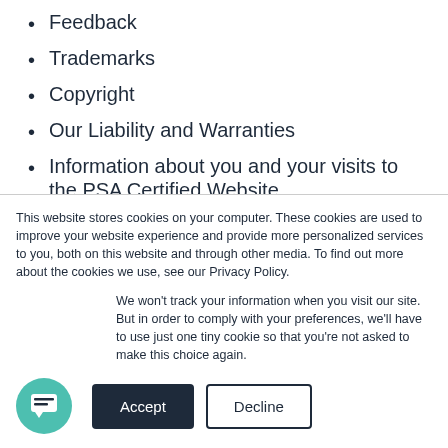Feedback
Trademarks
Copyright
Our Liability and Warranties
Information about you and your visits to the PSA Certified Website
Transactions concluded through PSA Certified Website
This website stores cookies on your computer. These cookies are used to improve your website experience and provide more personalized services to you, both on this website and through other media. To find out more about the cookies we use, see our Privacy Policy.
We won't track your information when you visit our site. But in order to comply with your preferences, we'll have to use just one tiny cookie so that you're not asked to make this choice again.